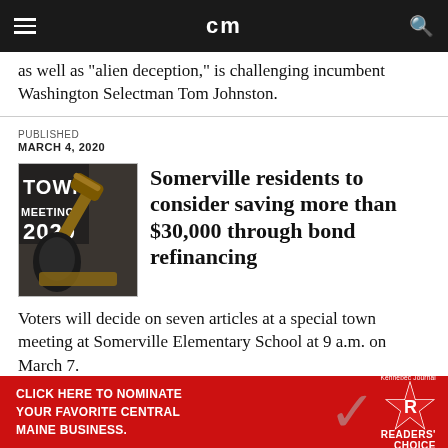cm
as well as "alien deception," is challenging incumbent Washington Selectman Tom Johnston.
PUBLISHED
MARCH 4, 2020
[Figure (photo): Town Meetings 2020 - gavel being struck]
Somerville residents to consider saving more than $30,000 through bond refinancing
Voters will decide on seven articles at a special town meeting at Somerville Elementary School at 9 a.m. on March 7.
[Figure (other): Advertisement: Click here to nominate your favorite Central Maine business. Readers' Choice.]